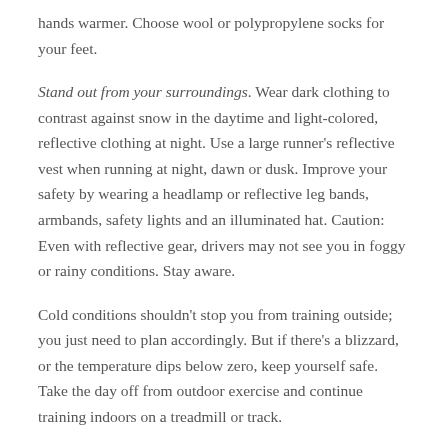hands warmer. Choose wool or polypropylene socks for your feet.
Stand out from your surroundings. Wear dark clothing to contrast against snow in the daytime and light-colored, reflective clothing at night. Use a large runner's reflective vest when running at night, dawn or dusk. Improve your safety by wearing a headlamp or reflective leg bands, armbands, safety lights and an illuminated hat. Caution: Even with reflective gear, drivers may not see you in foggy or rainy conditions. Stay aware.
Cold conditions shouldn't stop you from training outside; you just need to plan accordingly. But if there's a blizzard, or the temperature dips below zero, keep yourself safe. Take the day off from outdoor exercise and continue training indoors on a treadmill or track.
References: McFadden E. 1984. Respiratory heat and water exchange: physiological and clinical implications. European Journal of Applied Physiology. 54:331.